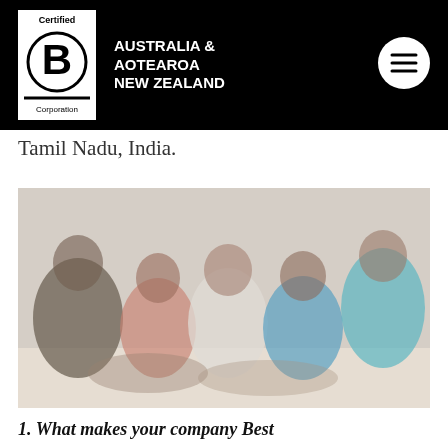Certified B Corporation – AUSTRALIA & AOTEAROA NEW ZEALAND
wined
hat to
ldknits
in
Tamil Nadu, India.
[Figure (photo): Group of women sitting in a circle on the floor, appearing to be in a workshop or community meeting setting in Tamil Nadu, India.]
1. What makes your company Best For The World?